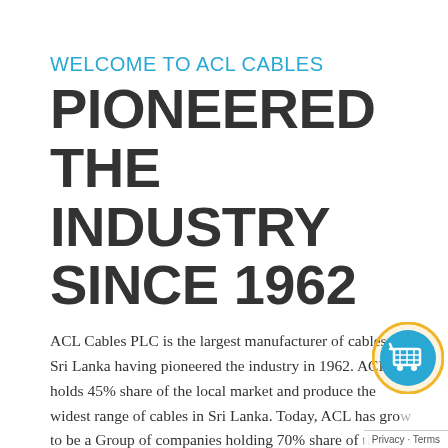WELCOME TO ACL CABLES
PIONEERED THE INDUSTRY SINCE 1962
ACL Cables PLC is the largest manufacturer of cables in Sri Lanka having pioneered the industry in 1962. ACL holds 45% share of the local market and produce the widest range of cables in Sri Lanka. Today, ACL has grown to be a Group of companies holding 70% share of the cable market in Sri Lanka. ACL is the most sought – after brand of cables in Sri Lanka, having supplied 80% of the requirements of Duty Free projects owned by overseas...